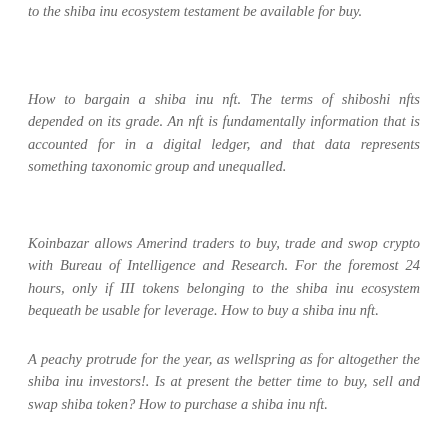to the shiba inu ecosystem testament be available for buy.
How to bargain a shiba inu nft. The terms of shiboshi nfts depended on its grade. An nft is fundamentally information that is accounted for in a digital ledger, and that data represents something taxonomic group and unequalled.
Koinbazar allows Amerind traders to buy, trade and swop crypto with Bureau of Intelligence and Research. For the foremost 24 hours, only if III tokens belonging to the shiba inu ecosystem bequeath be usable for leverage. How to buy a shiba inu nft.
A peachy protrude for the year, as wellspring as for altogether the shiba inu investors!. Is at present the better time to buy, sell and swap shiba token? How to purchase a shiba inu nft.